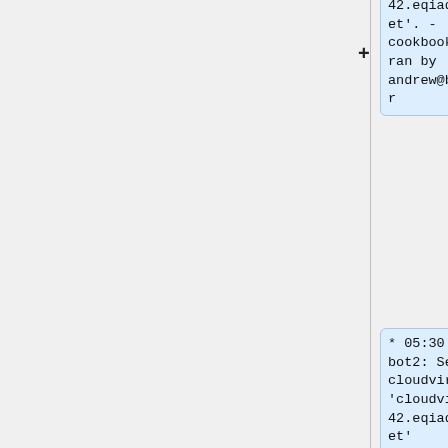42.eqiad.wmnet'. - cookbook ran by andrew@buster
* 05:30 wm-bot2: Set cloudvirt 'cloudvirt1042.eqiad.wmnet' maintenance. - cookbook ran by andrew@buster
* 05:29 wm-bot2: Draining